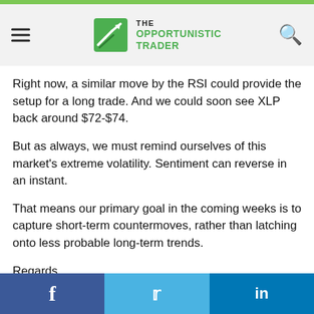THE OPPORTUNISTIC TRADER
Right now, a similar move by the RSI could provide the setup for a long trade. And we could soon see XLP back around $72-$74.
But as always, we must remind ourselves of this market's extreme volatility. Sentiment can reverse in an instant.
That means our primary goal in the coming weeks is to capture short-term countermoves, rather than latching onto less probable long-term trends.
Regards,
Larry Benedict
Editor, Trading With Larry Benedict
f  t  in